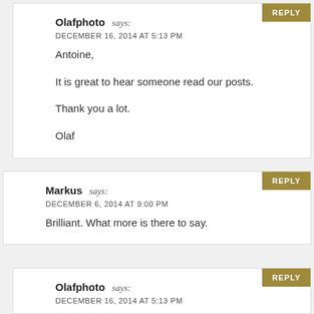Olafphoto says: DECEMBER 16, 2014 AT 5:13 PM
Antoine,

It is great to hear someone read our posts.

Thank you a lot.

Olaf
Markus says: DECEMBER 6, 2014 AT 9:00 PM
Brilliant. What more is there to say.
Olafphoto says: DECEMBER 16, 2014 AT 5:13 PM